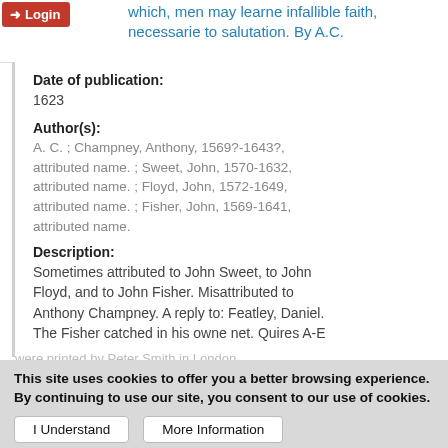Login | which, men may learne infallible faith, necessarie to salutation. By A.C.
Date of publication:
1623
Author(s):
A. C. ; Champney, Anthony, 1569?-1643?, attributed name. ; Sweet, John, 1570-1632, attributed name. ; Floyd, John, 1572-1649, attributed name. ; Fisher, John, 1569-1641, attributed name.
Description:
Sometimes attributed to John Sweet, to John Floyd, and to John Fisher. Misattributed to Anthony Champney. A reply to: Featley, Daniel. The Fisher catched in his owne net. Quires A-E
were printed by Peter Smith in London, ...
This site uses cookies to offer you a better browsing experience. By continuing to use our site, you consent to our use of cookies.
I Understand
More Information